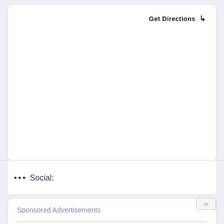Get Directions ↳
••• Social:
Sponsored Advertisements